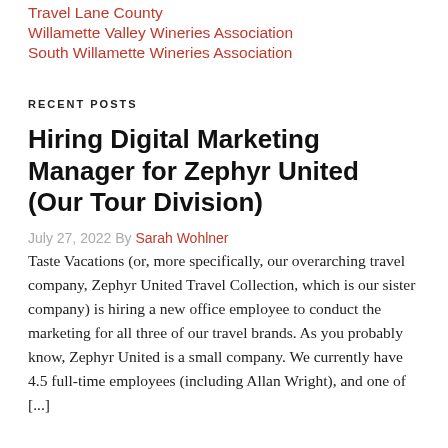Travel Lane County
Willamette Valley Wineries Association
South Willamette Wineries Association
RECENT POSTS
Hiring Digital Marketing Manager for Zephyr United (Our Tour Division)
July 27, 2022 By Sarah Wohlner
Taste Vacations (or, more specifically, our overarching travel company, Zephyr United Travel Collection, which is our sister company) is hiring a new office employee to conduct the marketing for all three of our travel brands. As you probably know, Zephyr United is a small company. We currently have 4.5 full-time employees (including Allan Wright), and one of [...]